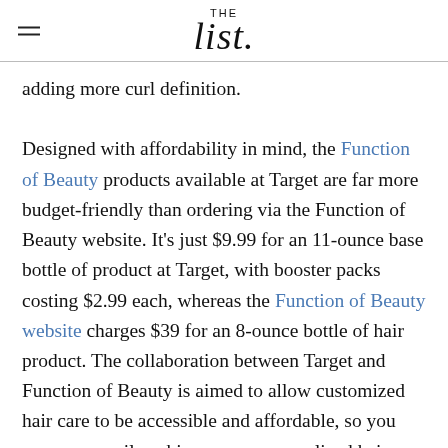THE list
adding more curl definition.

Designed with affordability in mind, the Function of Beauty products available at Target are far more budget-friendly than ordering via the Function of Beauty website. It's just $9.99 for an 11-ounce base bottle of product at Target, with booster packs costing $2.99 each, whereas the Function of Beauty website charges $39 for an 8-ounce bottle of hair product. The collaboration between Target and Function of Beauty is aimed to allow customized hair care to be accessible and affordable, so you can more easily achieve your personalized hair goals. If you're